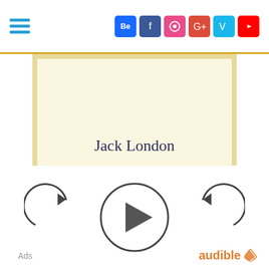[Figure (screenshot): Top navigation bar with hamburger menu icon on the left and social media icons (Behance, Facebook, Dribbble, Google+, Vimeo, YouTube) on the right, separated by a gold/yellow horizontal line.]
[Figure (photo): A book page / audiobook cover with cream/beige background showing the author name 'Jack London' in dark navy serif font, with a loading spinner icon below, fine print trademark text, and 'Copyrighted Material' label at bottom.]
Jack London
Copyrighted Material
[Figure (other): Audio player controls showing a rewind/replay button on the left, a large circular play button in the center, and a fast-forward/skip button on the right. Below left: 'Ads' label. Below right: 'audible' logo with orange sun/leaf icon.]